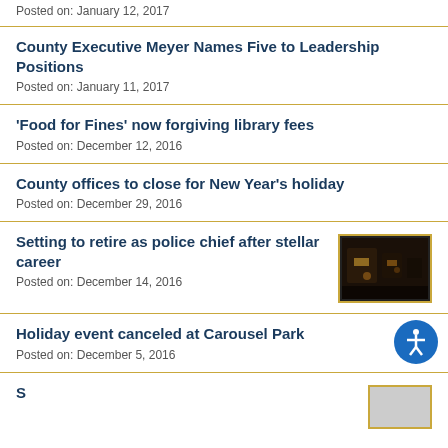Posted on: January 12, 2017
County Executive Meyer Names Five to Leadership Positions
Posted on: January 11, 2017
'Food for Fines' now forgiving library fees
Posted on: December 12, 2016
County offices to close for New Year's holiday
Posted on: December 29, 2016
Setting to retire as police chief after stellar career
[Figure (photo): Dark image of police-related scene]
Posted on: December 14, 2016
Holiday event canceled at Carousel Park
Posted on: December 5, 2016